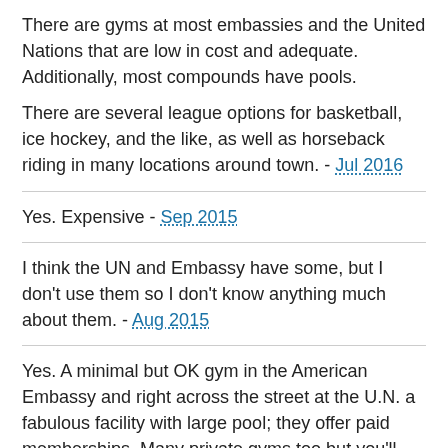There are gyms at most embassies and the United Nations that are low in cost and adequate. Additionally, most compounds have pools.
There are several league options for basketball, ice hockey, and the like, as well as horseback riding in many locations around town. - Jul 2016
Yes. Expensive - Sep 2015
I think the UN and Embassy have some, but I don't use them so I don't know anything much about them. - Aug 2015
Yes. A minimal but OK gym in the American Embassy and right across the street at the U.N. a fabulous facility with large pool; they offer paid memberships. Many private gyms too but you'll find them on a par with local options for selection. - Jul 2015